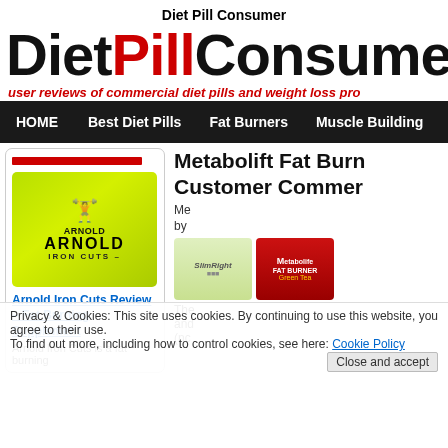Diet Pill Consumer
DietPillConsumer
user reviews of commercial diet pills and weight loss products
HOME   Best Diet Pills   Fat Burners   Muscle Building   Diet R
[Figure (photo): Arnold Iron Cuts product container in bright green/lime color with Arnold logo and silhouette figure]
Metabolift Fat Burner Customer Comments
Privacy & Cookies: This site uses cookies. By continuing to use this website, you agree to their use.
To find out more, including how to control cookies, see here: Cookie Policy
Close and accept
Arnold Iron Cuts Review – Fat Burning Supplement
Arnold Iron Cuts is a fat burning
[Figure (photo): SlimRight product and Metabolife Fat Burner product images]
The and (nc